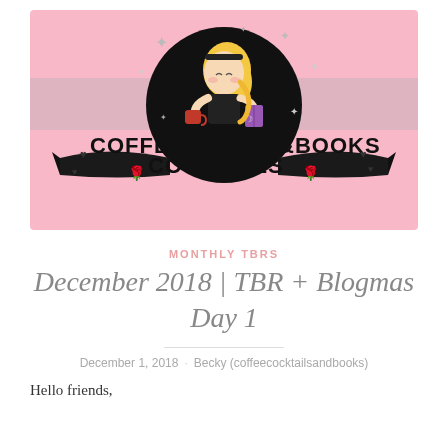[Figure (logo): Blog logo banner for 'Coffee Cocktails & Books' blog — pink background with a dark circle containing an illustrated blonde woman reading a book and drinking coffee, surrounded by sparkles. Below the circle reads 'COFFEE & BOOKS' and 'COCKTAILS' in bold black text with decorative roses and hearts.]
MONTHLY TBRS
December 2018 | TBR + Blogmas Day 1
December 1, 2018 · Becky (coffeecocktailsandbooks)
Hello friends,